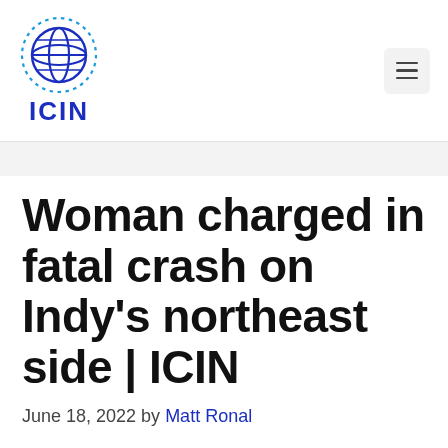[Figure (logo): ICIN globe logo with dotted circular border and bold blue ICIN text beneath]
Woman charged in fatal crash on Indy's northeast side | ICIN
June 18, 2022 by Matt Ronal